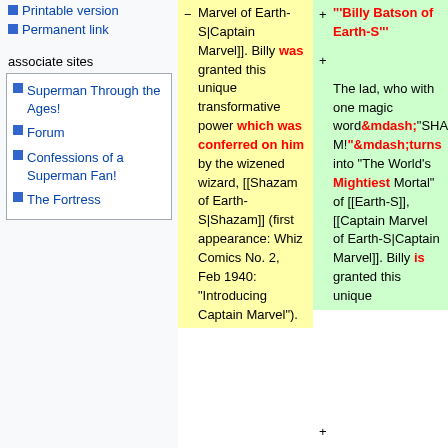Printable version
Permanent link
associate sites
Superman Through the Ages!
Forum
Confessions of a Superman Fan!
The Fortress
Marvel of Earth-S|Captain Marvel]]. Billy was granted this unique transformative power which was conferred on him by the wizened wizard, [[Shazam of Earth-S|Shazam]] (first appearance: Whiz Comics No. 2, Feb 1940: "Introducing Captain Marvel").
'''Billy Batson of Earth-S'''
The lad, who with one magic word&mdash;"SHAZAM!"&mdash;turns into "The World's Mightiest Mortal" of [[Earth-S]], [[Captain Marvel of Earth-S|Captain Marvel]]. Billy is granted this unique